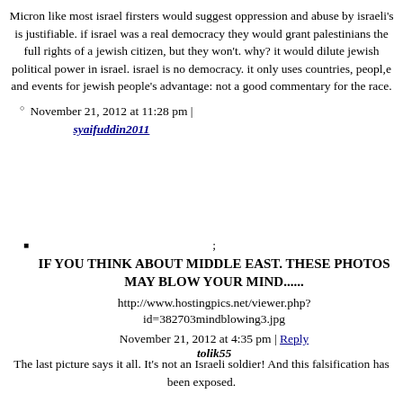Micron like most israel firsters would suggest oppression and abuse by israeli's is justifiable. if israel was a real democracy they would grant palestinians the full rights of a jewish citizen, but they won't. why? it would dilute jewish political power in israel. israel is no democracy. it only uses countries, peopl,e and events for jewish people's advantage: not a good commentary for the race.
November 21, 2012 at 11:28 pm |
syaifuddin2011
;
IF YOU THINK ABOUT MIDDLE EAST. THESE PHOTOS MAY BLOW YOUR MIND......
http://www.hostingpics.net/viewer.php?id=382703mindblowing3.jpg
November 21, 2012 at 4:35 pm | Reply
tolik55
The last picture says it all. It's not an Israeli soldier! And this falsification has been exposed.